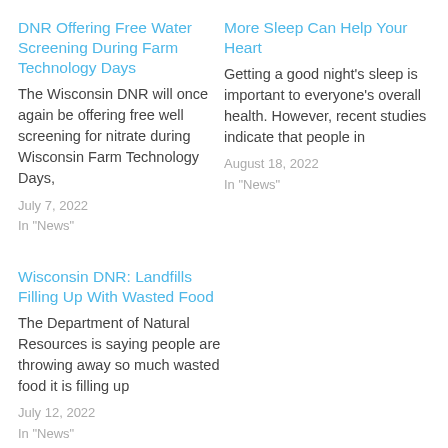DNR Offering Free Water Screening During Farm Technology Days
The Wisconsin DNR will once again be offering free well screening for nitrate during Wisconsin Farm Technology Days,
July 7, 2022
In "News"
More Sleep Can Help Your Heart
Getting a good night's sleep is important to everyone's overall health. However, recent studies indicate that people in
August 18, 2022
In "News"
Wisconsin DNR: Landfills Filling Up With Wasted Food
The Department of Natural Resources is saying people are throwing away so much wasted food it is filling up
July 12, 2022
In "News"